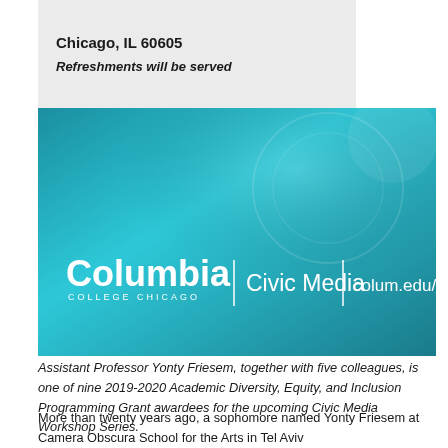Chicago, IL 60605
Refreshments will be served
[Figure (logo): Columbia College Chicago Civic Media banner with teal background showing Columbia | Civic Media | colum.edu/civicmedia]
Assistant Professor Yonty Friesem, together with five colleagues, is one of nine 2019-2020 Academic Diversity, Equity, and Inclusion Programming Grant awardees for the upcoming Civic Media Workshop Series.
More than twenty years ago, a sophomore named Yonty Friesem at Camera Obscura School for the Arts in Tel Aviv